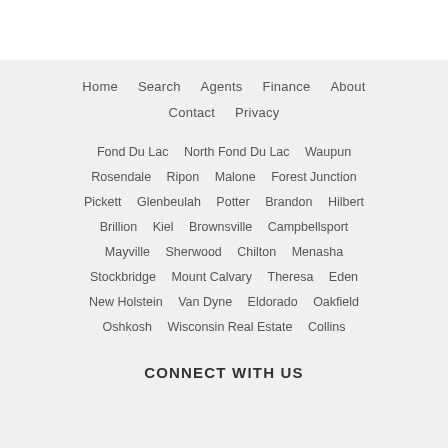Home  Search  Agents  Finance  About  Contact  Privacy
Fond Du Lac  North Fond Du Lac  Waupun  Rosendale  Ripon  Malone  Forest Junction  Pickett  Glenbeulah  Potter  Brandon  Hilbert  Brillion  Kiel  Brownsville  Campbellsport  Mayville  Sherwood  Chilton  Menasha  Stockbridge  Mount Calvary  Theresa  Eden  New Holstein  Van Dyne  Eldorado  Oakfield  Oshkosh  Wisconsin Real Estate  Collins
CONNECT WITH US